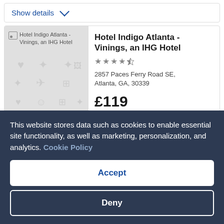Show details
[Figure (photo): Hotel Indigo Atlanta - Vinings, an IHG Hotel placeholder image with broken image icon]
Hotel Indigo Atlanta - Vinings, an IHG Hotel
★★★½
2857 Paces Ferry Road SE, Atlanta, GA, 30339
£119 per night 29 Aug - 30 Aug
This website stores data such as cookies to enable essential site functionality, as well as marketing, personalization, and analytics. Cookie Policy
Accept
Deny